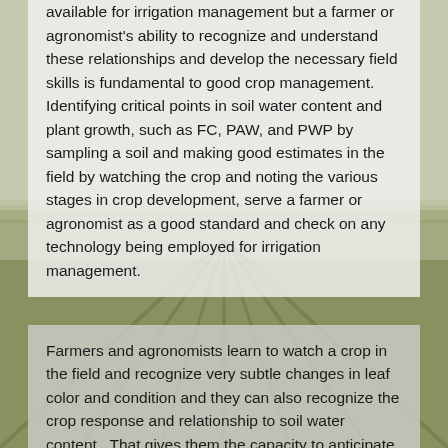available for irrigation management but a farmer or agronomist's ability to recognize and understand these relationships and develop the necessary field skills is fundamental to good crop management.  Identifying critical points in soil water content and plant growth, such as FC, PAW, and PWP by sampling a soil and making good estimates in the field by watching the crop and noting the various stages in crop development, serve a farmer or agronomist as a good standard and check on any technology being employed for irrigation management.
[Figure (photo): Agricultural field with rows of crops extending to the horizon under a pale sky, serving as a background image for the document page.]
Farmers and agronomists learn to watch a crop in the field and recognize very subtle changes in leaf color and condition and they can also recognize the crop response and relationship to soil water content.  That gives them the capacity to anticipate the optimum timing for the next irrigation.  Farmers and agronomists understand these relationships among crop plants, soil water content, and